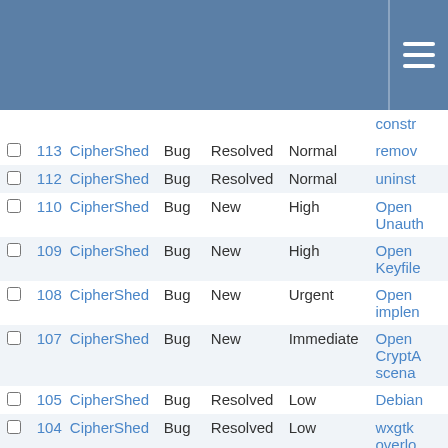|  | # | Project | Type | Status | Priority | Subject |
| --- | --- | --- | --- | --- | --- | --- |
|  |  |  |  |  |  | constr |
| ☐ | 113 | CipherShed | Bug | Resolved | Normal | remov |
| ☐ | 112 | CipherShed | Bug | Resolved | Normal | uninst |
| ☐ | 110 | CipherShed | Bug | New | High | Open Unauth |
| ☐ | 109 | CipherShed | Bug | New | High | Open Keyfile |
| ☐ | 108 | CipherShed | Bug | New | Urgent | Open implen |
| ☐ | 107 | CipherShed | Bug | New | Immediate | Open CryptA scena |
| ☐ | 105 | CipherShed | Bug | Resolved | Low | Debian |
| ☐ | 104 | CipherShed | Bug | Resolved | Low | wxgtk overlo |
| ☐ | 101 | CipherShed | Bug | Resolved | Normal | boot lo |
| ☐ | 95 | CipherShed | Bug | New | Normal | Platfor Comm |
| ☐ | 94 | CipherShed | Bug | New | High | Cipher Host F Area" |